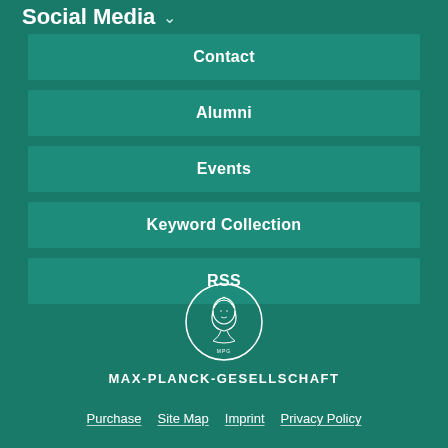Social Media ∨
Contact
Alumni
Events
Keyword Collection
RSS
[Figure (logo): Max-Planck-Gesellschaft circular medallion logo with a portrait]
MAX-PLANCK-GESELLSCHAFT
Purchase   Site Map   Imprint   Privacy Policy